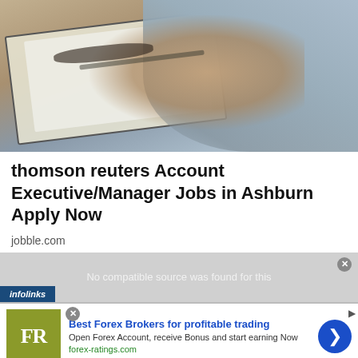[Figure (photo): Photo of two people at a desk with papers/clipboard and glasses, viewed from above, one person in a blue-gray shirt with hands clasped]
thomson reuters Account Executive/Manager Jobs in Ashburn Apply Now
jobble.com
[Figure (screenshot): Video placeholder with 'No compatible source was found for this' message and infolinks bar overlay]
[Figure (infographic): Advertisement banner: FR logo (olive/yellow-green square), 'Best Forex Brokers for profitable trading', 'Open Forex Account, receive Bonus and start earning Now', forex-ratings.com, blue arrow circle button]